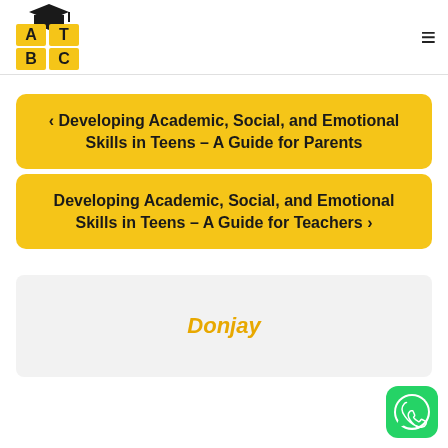[Figure (logo): ATBC educational logo with graduation cap, yellow and black squares with letters A, T, B, C]
< Developing Academic, Social, and Emotional Skills in Teens – A Guide for Parents
Developing Academic, Social, and Emotional Skills in Teens – A Guide for Teachers >
Donjay
[Figure (logo): WhatsApp green circular button icon]